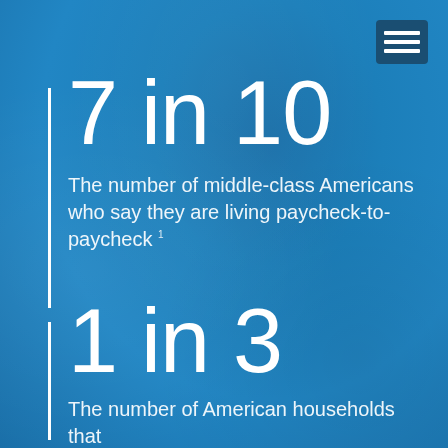[Figure (infographic): Blue background with blurred abstract texture overlay]
7 in 10
The number of middle-class Americans who say they are living paycheck-to-paycheck 1
1 in 3
The number of American households that are uninsured. 2